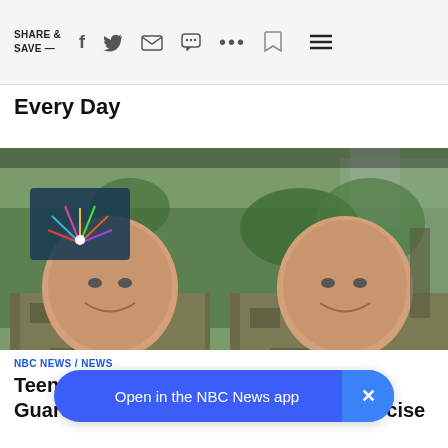SHARE & SAVE —
Every Day
[Figure (photo): Two smiling young soldiers in camouflage military uniforms standing side by side outdoors with trees and buildings in the background. NBC peacock logo visible in upper-left corner.]
NBC NEWS / NEWS
Teen tr[oop in the N]ational Guard dies after collapsing during exercise
Open in the NBC News app